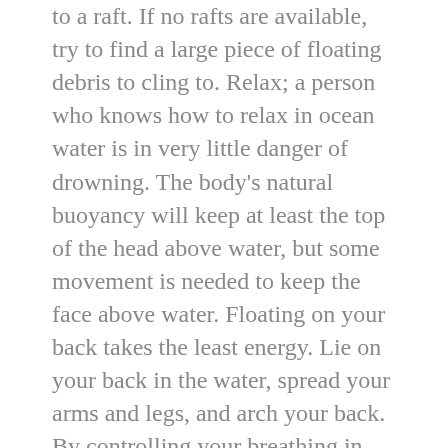to a raft. If no rafts are available, try to find a large piece of floating debris to cling to. Relax; a person who knows how to relax in ocean water is in very little danger of drowning. The body's natural buoyancy will keep at least the top of the head above water, but some movement is needed to keep the face above water. Floating on your back takes the least energy. Lie on your back in the water, spread your arms and legs, and arch your back. By controlling your breathing in and out, your face will always be out of the water and you may even sleep in this position for short periods. Your head will be partially submerged, but your face will be above water. If you cannot float on your back or if the sea is too rough, float face down in the water as shown in the image below.
Here's and exciting and insightful website with content